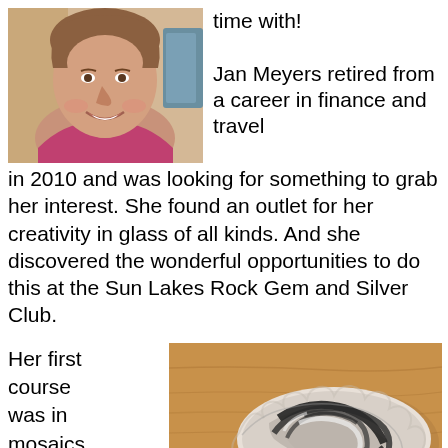[Figure (photo): Close-up photo of a smiling woman with short hair, wearing a pink top, against a light background]
time with!

Jan Meyers retired from a career in finance and travel in 2010 and was looking for something to grab her interest. She found an outlet for her creativity in glass of all kinds. And she discovered the wonderful opportunities to do this at the Sun Lakes Rock Gem and Silver Club.
Her first course was in mosaics and she
[Figure (photo): A black, white, and grey swirled glass bowl or dish resting on a wooden surface, photographed from above at an angle]